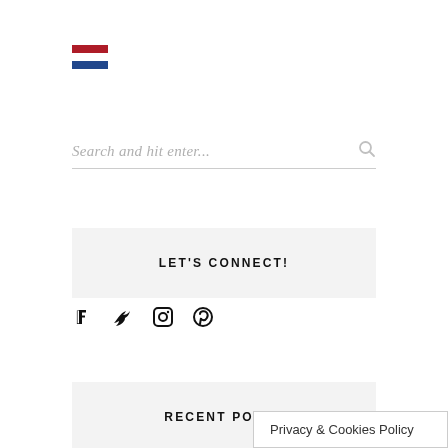[Figure (illustration): Netherlands flag icon (red, white, blue horizontal stripes)]
Search and hit enter...
LET'S CONNECT!
[Figure (illustration): Social media icons: Facebook, Twitter, Instagram, Pinterest]
RECENT POSTS
Privacy & Cookies Policy